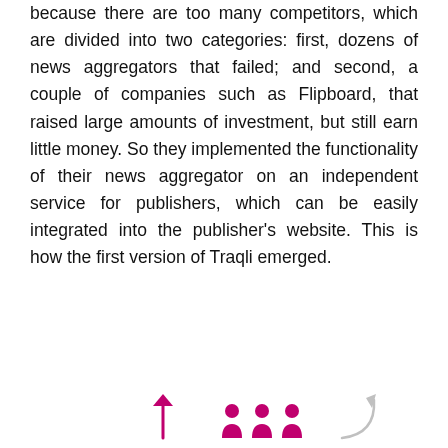because there are too many competitors, which are divided into two categories: first, dozens of news aggregators that failed; and second, a couple of companies such as Flipboard, that raised large amounts of investment, but still earn little money. So they implemented the functionality of their news aggregator on an independent service for publishers, which can be easily integrated into the publisher's website. This is how the first version of Traqli emerged.
[Figure (infographic): Traqli infographic showing a tablet with news items on the left, the Traqli logo (purple circle with T) and name in the center with arrows pointing to/from it, social media icons on the right, and a description 'Smart content distribution platform that helps publishers build personalized communication channels with readers and increase revenue'. Below is a partial view of user icons and arrows.]